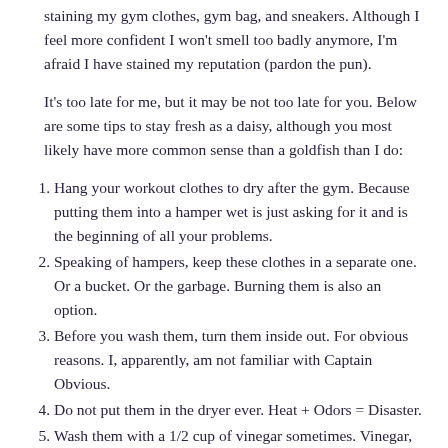staining my gym clothes, gym bag, and sneakers. Although I feel more confident I won't smell too badly anymore, I'm afraid I have stained my reputation (pardon the pun).
It's too late for me, but it may be not too late for you. Below are some tips to stay fresh as a daisy, although you most likely have more common sense than a goldfish than I do:
Hang your workout clothes to dry after the gym. Because putting them into a hamper wet is just asking for it and is the beginning of all your problems.
Speaking of hampers, keep these clothes in a separate one. Or a bucket. Or the garbage. Burning them is also an option.
Before you wash them, turn them inside out. For obvious reasons. I, apparently, am not familiar with Captain Obvious.
Do not put them in the dryer ever. Heat + Odors = Disaster.
Wash them with a 1/2 cup of vinegar sometimes. Vinegar,